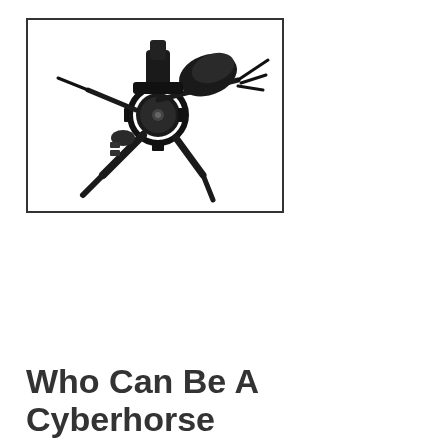[Figure (photo): A black mechanical or robotic device resembling a cybernetic horse or creature, shown in a square bordered frame. The object appears to have gears, joints, and mechanical components, photographed against a white background.]
Who Can Be A Cyberhorse